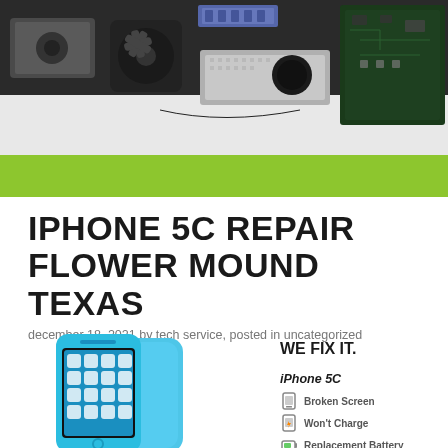[Figure (photo): Photo of disassembled computer/electronics components including a hard drive, fan, RAM, circuit board, and other parts on a white surface]
IPHONE 5C REPAIR FLOWER MOUND TEXAS
december 18, 2021 by tech service, posted in uncategorized
[Figure (infographic): Blue iPhone 5C phone shown with repair service list: WE FIX IT. iPhone 5C - Broken Screen, Won't Charge, Replacement Battery]
WE FIX IT.
iPhone 5C
Broken Screen
Won't Charge
Replacement Battery